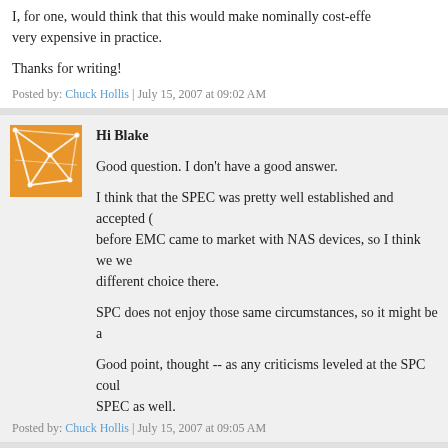I, for one, would think that this would make nominally cost-effective very expensive in practice.
Thanks for writing!
Posted by: Chuck Hollis | July 15, 2007 at 09:02 AM
[Figure (logo): Orange geometric network pattern avatar]
Hi Blake
Good question. I don't have a good answer.
I think that the SPEC was pretty well established and accepted ( before EMC came to market with NAS devices, so I think we we different choice there.
SPC does not enjoy those same circumstances, so it might be a
Good point, thought -- as any criticisms leveled at the SPC coul SPEC as well.
Posted by: Chuck Hollis | July 15, 2007 at 09:05 AM
[Figure (logo): Red/pink floral geometric avatar]
Thanks again Chuck for the reply. I guess we'll have to agree to